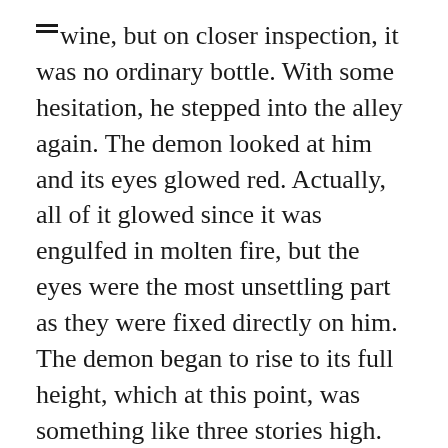wine, but on closer inspection, it was no ordinary bottle. With some hesitation, he stepped into the alley again. The demon looked at him and its eyes glowed red. Actually, all of it glowed since it was engulfed in molten fire, but the eyes were the most unsettling part as they were fixed directly on him. The demon began to rise to its full height, which at this point, was something like three stories high. Carl had to hurry.
He recited the incantation, “Klaatu barada nikto!” and uncorked the bottle. With a wooshing sound, Carl was sucked into an extra-dimensional pocket.